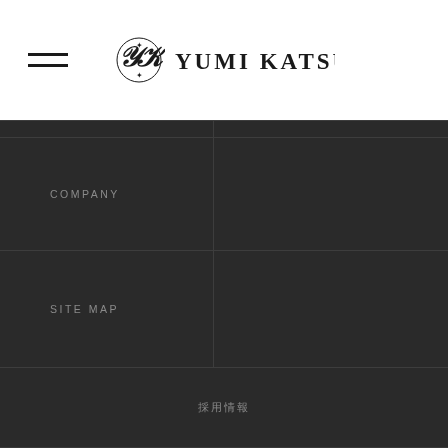YUMI KATSURA
COMPANY
SITE MAP
採用情報
[Figure (logo): Yumi Katsura logo — ornamental monogram with decorative script and serif lettering, white on dark background]